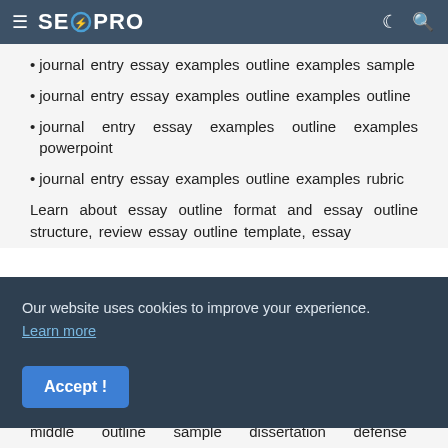≡ SEOPRO
journal entry essay examples outline examples sample
journal entry essay examples outline examples outline
journal entry essay examples outline examples powerpoint
journal entry essay examples outline examples rubric
Learn about essay outline format and essay outline structure, review essay outline template, essay
Our website uses cookies to improve your experience. Learn more
middle outline sample dissertation defense